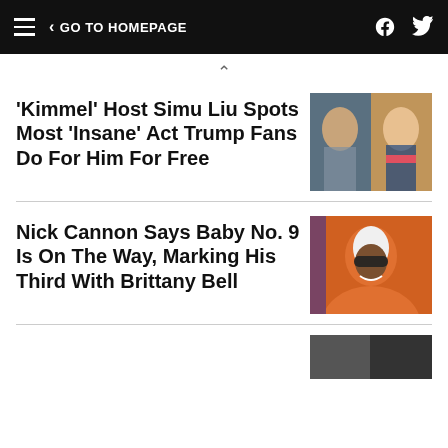≡  < GO TO HOMEPAGE
^
'Kimmel' Host Simu Liu Spots Most 'Insane' Act Trump Fans Do For Him For Free
[Figure (photo): Side-by-side photo: Simu Liu (left) and Donald Trump (right)]
Nick Cannon Says Baby No. 9 Is On The Way, Marking His Third With Brittany Bell
[Figure (photo): Nick Cannon wearing an orange hoodie with sunglasses]
[Figure (photo): Partial third story thumbnail at bottom]